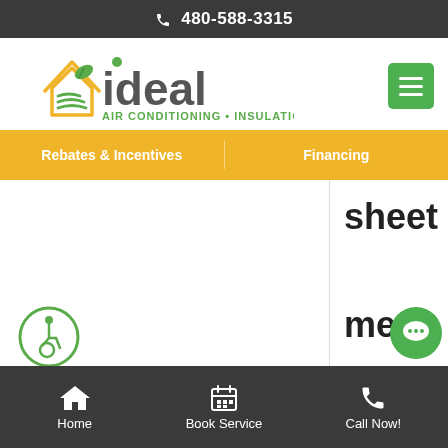📞 480-588-3315
[Figure (logo): Ideal Air Conditioning and Insulation logo with house icon and green leaf, company name 'ideal' in large gray text, tagline 'AIR CONDITIONING • INSULATION' in green]
Rebates & Incentives
Financing
sheet

meta

l

sup...
[Figure (illustration): Green circle with wheelchair accessibility icon]
[Figure (illustration): Green circle chat bubble button]
Home   Book Service   Call Now!